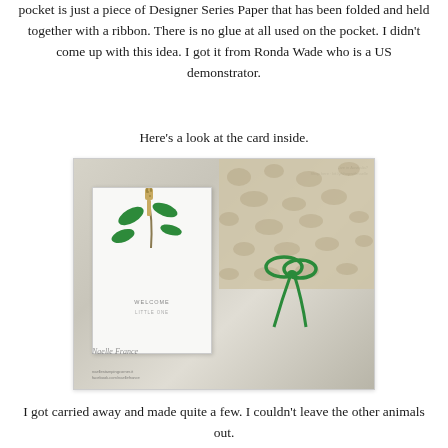pocket is just a piece of Designer Series Paper that has been folded and held together with a ribbon. There is no glue at all used on the pocket. I didn't come up with this idea. I got it from Ronda Wade who is a US demonstrator.
Here's a look at the card inside.
[Figure (photo): Photo of a handmade card inside a pocket. The card shows a giraffe peeking over a branch with green leaves, text reading WELCOME LITTLE ONE, placed against a giraffe-pattern Designer Series Paper pocket tied with a green ribbon. Various animal-themed craft elements are visible.]
I got carried away and made quite a few. I couldn't leave the other animals out.